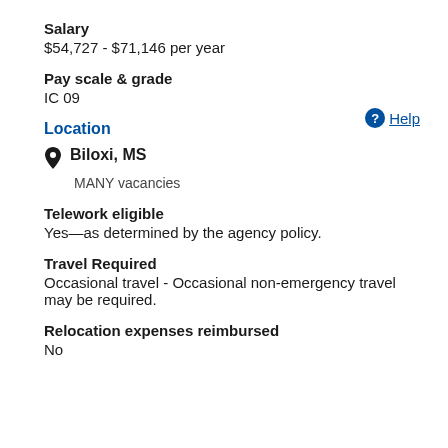Salary
$54,727 - $71,146 per year
Pay scale & grade
IC 09
Location
Biloxi, MS
MANY vacancies
Telework eligible
Yes—as determined by the agency policy.
Travel Required
Occasional travel - Occasional non-emergency travel may be required.
Relocation expenses reimbursed
No